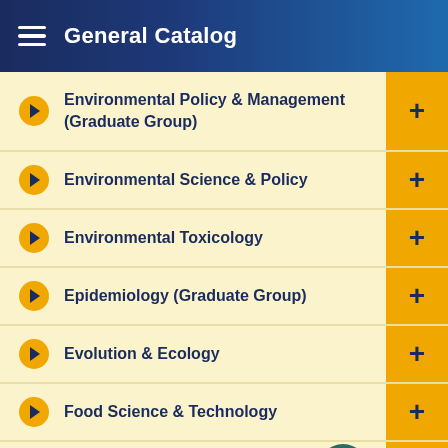General Catalog
Environmental Policy & Management (Graduate Group)
Environmental Science & Policy
Environmental Toxicology
Epidemiology (Graduate Group)
Evolution & Ecology
Food Science & Technology
Food Science (Graduate Group)
Forensic Science (Graduate Group)